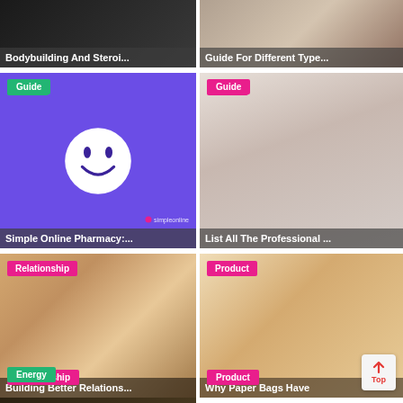[Figure (photo): Bodybuilding and steroids dark themed thumbnail with text overlay]
Bodybuilding And Steroi...
[Figure (photo): Guide for different types thumbnail]
Guide For Different Type...
[Figure (illustration): Simple Online Pharmacy guide with purple background and smiley face logo]
Simple Online Pharmacy:...
[Figure (photo): Beauty treatment - List all the professional procedures thumbnail with Guide badge]
List All The Professional ...
[Figure (photo): Building Better Relationships - couple photo with Relationship badge]
Building Better Relations...
[Figure (photo): Why Paper Bags Have - kraft paper bags in kitchen with Product badge]
Why Paper Bags Have
[Figure (photo): Energy category thumbnail partial view at bottom]